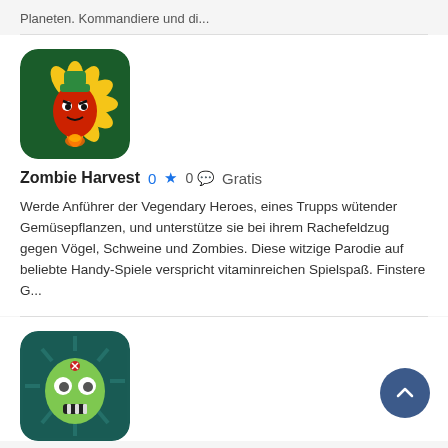Planeten. Kommandiere und di...
[Figure (illustration): App icon for Zombie Harvest: cartoon red chili pepper character with green hat and sunflower petals on dark green background]
Zombie Harvest  0 ★  0 💬  Gratis
Werde Anführer der Vegendary Heroes, eines Trupps wütender Gemüsepflanzen, und unterstütze sie bei ihrem Rachefeldzug gegen Vögel, Schweine und Zombies. Diese witzige Parodie auf beliebte Handy-Spiele verspricht vitaminreichen Spielspaß. Finstere G...
[Figure (illustration): App icon: cartoon zombie face with green skin and wide eyes on dark teal background with rays]